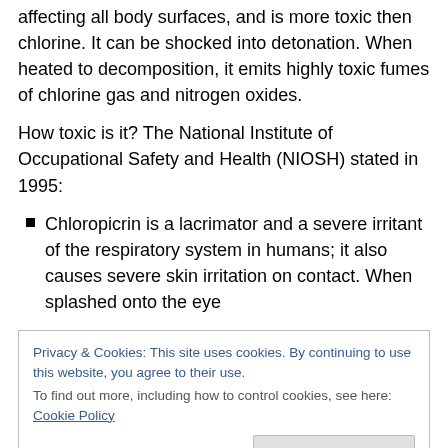affecting all body surfaces, and is more toxic then chlorine. It can be shocked into detonation. When heated to decomposition, it emits highly toxic fumes of chlorine gas and nitrogen oxides.
How toxic is it? The National Institute of Occupational Safety and Health (NIOSH) stated in 1995:
Chloropicrin is a lacrimator and a severe irritant of the respiratory system in humans; it also causes severe skin irritation on contact. When splashed onto the eye
Privacy & Cookies: This site uses cookies. By continuing to use this website, you agree to their use.
To find out more, including how to control cookies, see here: Cookie Policy
Exposure to 0.3 0.37 ppm chloropicrin for 3 to 30